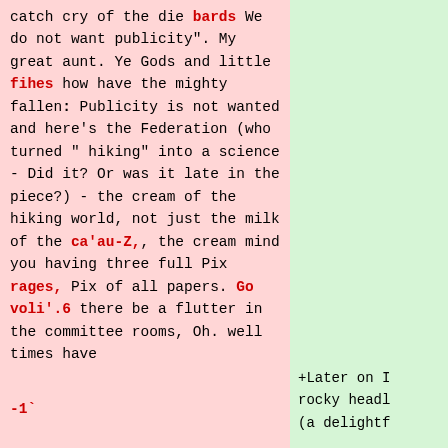catch cry of the die bards We do not want publicity". My great aunt. Ye Gods and little fihes how have the mighty fallen: Publicity is not wanted and here's the Federation (who turned "hiking" into a science - Did it? Or was it late in the piece?) - the cream of the hiking world, not just the milk of the ca'au-Z,, the cream mind you having three full Pix rages, Pix of all papers. Go voli'.6 there be a flutter in the committee rooms, Oh. well times have
-1`
+Later on I rocky headl (a delightf